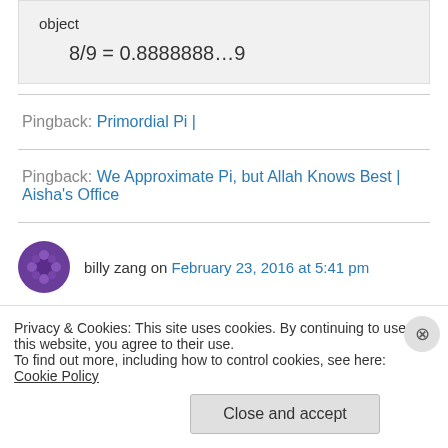object
Pingback: Primordial Pi |
Pingback: We Approximate Pi, but Allah Knows Best | Aisha's Office
billy zang on February 23, 2016 at 5:41 pm
Privacy & Cookies: This site uses cookies. By continuing to use this website, you agree to their use. To find out more, including how to control cookies, see here: Cookie Policy